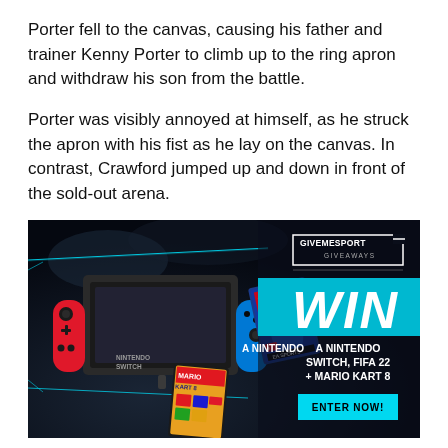Porter fell to the canvas, causing his father and trainer Kenny Porter to climb up to the ring apron and withdraw his son from the battle.
Porter was visibly annoyed at himself, as he struck the apron with his fist as he lay on the canvas. In contrast, Crawford jumped up and down in front of the sold-out arena.
[Figure (infographic): GiveMeSport Giveaways advertisement banner with dark background showing a Nintendo Switch console with red and blue Joy-Con controllers, FIFA 22 game case, and Mario Kart 8 game case on the left side. Right side has GiveMeSport Giveaways logo, cyan WIN banner, prize text reading 'A NINTENDO SWITCH, FIFA 22 + MARIO KART 8', and an ENTER NOW! button.]